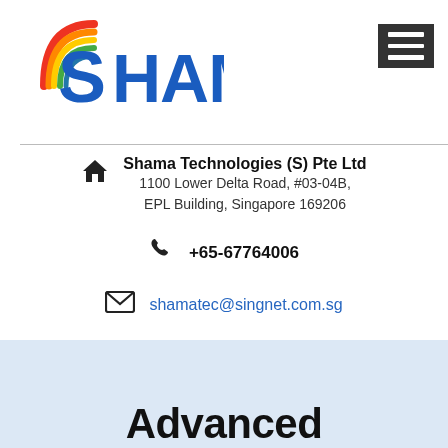[Figure (logo): Shama Technologies logo with rainbow arc over letter S and blue SHAMA text, with hamburger menu icon on the right]
Shama Technologies (S) Pte Ltd
1100 Lower Delta Road, #03-04B,
EPL Building, Singapore 169206
+65-67764006
shamatec@singnet.com.sg
Advanced